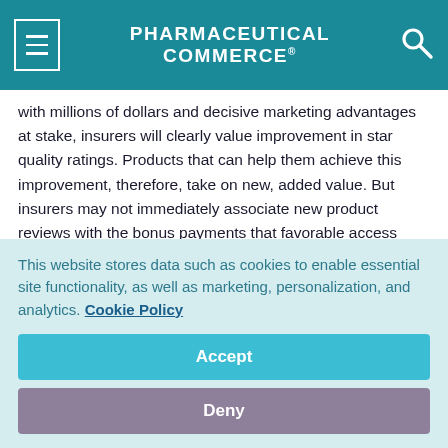PHARMACEUTICAL COMMERCE
with millions of dollars and decisive marketing advantages at stake, insurers will clearly value improvement in star quality ratings. Products that can help them achieve this improvement, therefore, take on new, added value. But insurers may not immediately associate new product reviews with the bonus payments that favorable access decisions could unlock.
With so much at stake for their customers, manufacturers must devote sufficient time to learning the details of the Star program and how the new policies will impact the drugs in their pipelines or
This website stores data such as cookies to enable essential site functionality, as well as marketing, personalization, and analytics. Cookie Policy
Accept
Deny